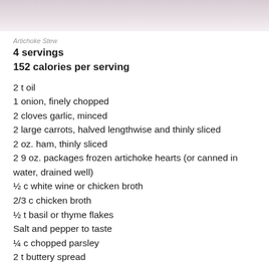[Figure (photo): Top portion of a plate/dish photo, cropped at top of page]
Artichoke Stew
4 servings
152 calories per serving
2 t oil
1 onion, finely chopped
2 cloves garlic, minced
2 large carrots, halved lengthwise and thinly sliced
2 oz. ham, thinly sliced
2 9 oz. packages frozen artichoke hearts (or canned in water, drained well)
½ c white wine or chicken broth
2/3 c chicken broth
½ t basil or thyme flakes
Salt and pepper to taste
¼ c chopped parsley
2 t buttery spread